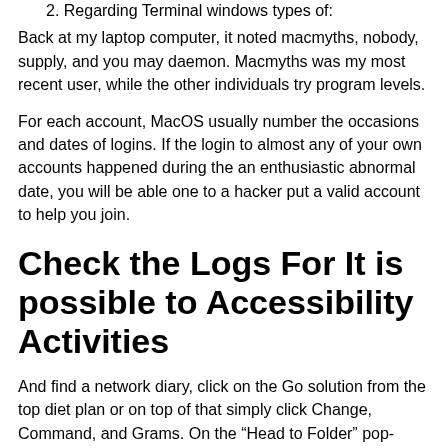2. Regarding Terminal windows types of:
Back at my laptop computer, it noted macmyths, nobody, supply, and you may daemon. Macmyths was my most recent user, while the other individuals try program levels.
For each account, MacOS usually number the occasions and dates of logins. If the login to almost any of your own accounts happened during the an enthusiastic abnormal date, you will be able one to a hacker put a valid account to help you join.
Check the Logs For It is possible to Accessibility Activities
And find a network diary, click on the Go solution from the top diet plan or on top of that simply click Change, Command, and Grams. On the “Head to Folder” pop-upwards